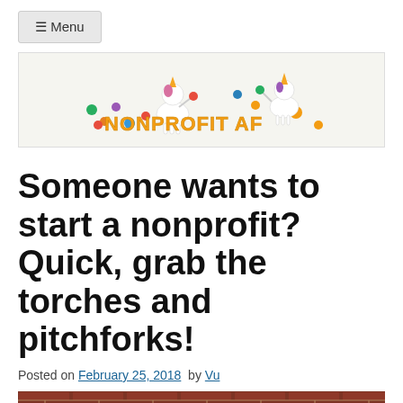≡ Menu
[Figure (logo): Nonprofit AF logo with cartoon unicorns juggling colorful balls and text 'NONPROFIT AF' in orange bubble letters]
Someone wants to start a nonprofit? Quick, grab the torches and pitchforks!
Posted on February 25, 2018 by Vu
[Figure (photo): Brick wall or stone surface, reddish-brown tones, partial view at bottom of page]